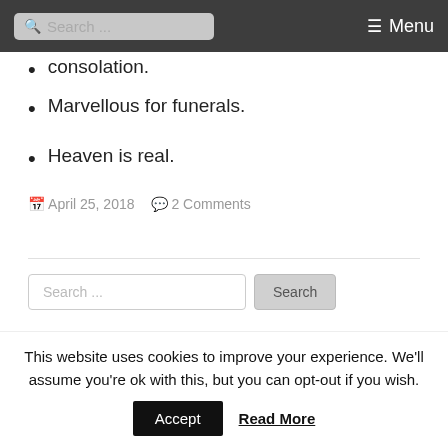Search ... Menu
consolation.
Marvellous for funerals.
Heaven is real.
April 25, 2018   2 Comments
Search ... Search
Privacy & Cookie Policy I Am With You Foundation
This website uses cookies to improve your experience. We'll assume you're ok with this, but you can opt-out if you wish.
Accept  Read More